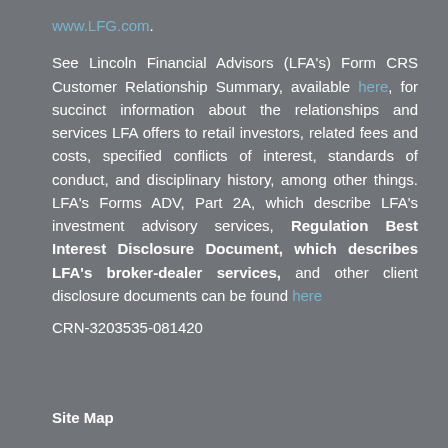www.LFG.com.
See Lincoln Financial Advisors (LFA's) Form CRS Customer Relationship Summary, available here, for succinct information about the relationships and services LFA offers to retail investors, related fees and costs, specified conflicts of interest, standards of conduct, and disciplinary history, among other things. LFA's Forms ADV, Part 2A, which describe LFA's investment advisory services, Regulation Best Interest Disclosure Document, which describes LFA's broker-dealer services, and other client disclosure documents can be found here
CRN-3203535-081420
Site Map